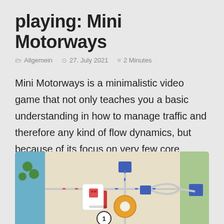playing: Mini Motorways
Allgemein   27. July 2021   2 Minutes
Mini Motorways is a minimalistic video game that not only teaches you a basic understanding in how to manage traffic and therefore any kind of flow dynamics, but because of its focus on very few core mechanics, allows you to become aware of how you are learning its meta and improving while playing.
[Figure (screenshot): Screenshot of Mini Motorways game showing a top-down map view with colored roads, buildings (blue squares), a red source building, an orange roundabout, and numbered cards on a light green and beige background.]